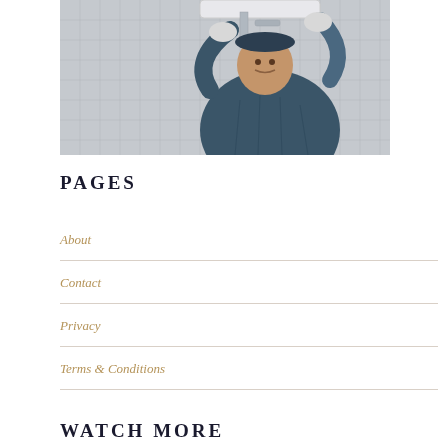[Figure (photo): A plumber wearing a cap and gloves working on pipes beneath a sink mounted on a tiled wall, looking upward at the work]
PAGES
About
Contact
Privacy
Terms & Conditions
WATCH MORE